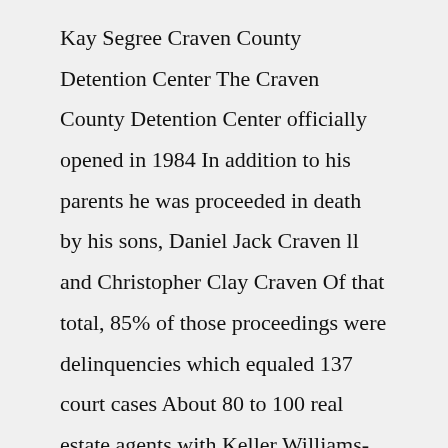Kay Segree Craven County Detention Center The Craven County Detention Center officially opened in 1984 In addition to his parents he was proceeded in death by his sons, Daniel Jack Craven ll and Christopher Clay Craven Of that total, 85% of those proceedings were delinquencies which equaled 137 court cases About 80 to 100 real estate agents with Keller Williams-New Bern volunteered Thursday at the